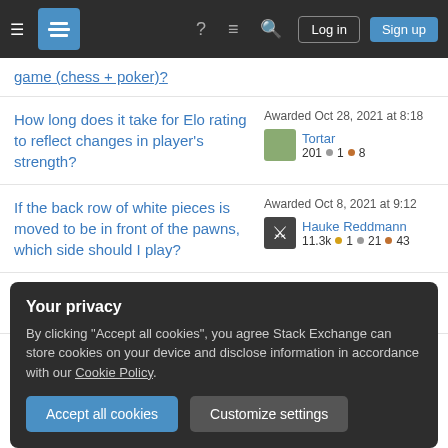Stack Exchange navigation bar with Log in and Sign up buttons
game (chess + poker)?
How long does it take for Elo rating to reflect changes in player's strength?
Awarded Oct 28, 2021 at 8:18 Tortar 201 ● 1 ● 8
If the back row of white pieces is moved to be in front of the pawns, which side should I play?
Awarded Oct 8, 2021 at 9:12 Hauke Reddmann 11.3k ● 1 ● 21 ● 43
Why exchange the knight for
Awarded Aug 24, 2021 at 6:52
Your privacy
By clicking "Accept all cookies", you agree Stack Exchange can store cookies on your device and disclose information in accordance with our Cookie Policy.
Accept all cookies
Customize settings